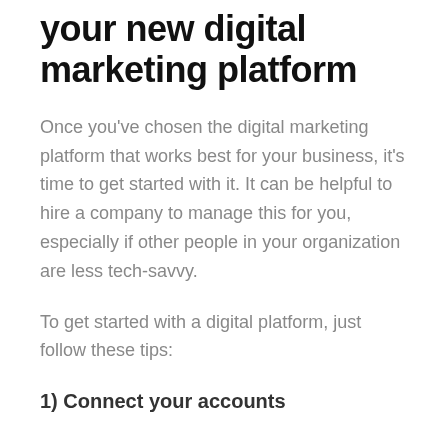your new digital marketing platform
Once you’ve chosen the digital marketing platform that works best for your business, it’s time to get started with it. It can be helpful to hire a company to manage this for you, especially if other people in your organization are less tech-savvy.
To get started with a digital platform, just follow these tips:
1) Connect your accounts